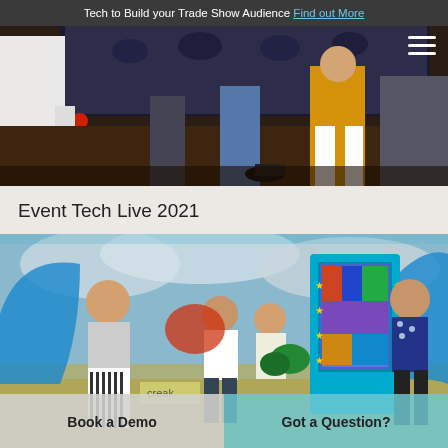Tech to Build your Trade Show Audience Find out More
[Figure (photo): Trade show event photo showing people standing in front of a large display screen, with a hamburger menu icon in top right corner]
Event Tech Live 2021
[Figure (photo): Outdoor event photo showing people at a festival/trade show with a blue interactive kiosk, overlaid with two CTA buttons: Book a Demo and Got a Question?]